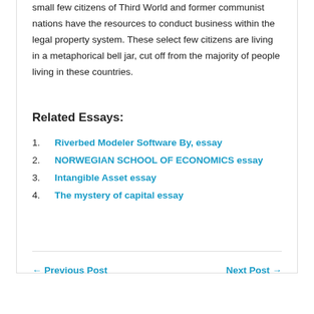small few citizens of Third World and former communist nations have the resources to conduct business within the legal property system. These select few citizens are living in a metaphorical bell jar, cut off from the majority of people living in these countries.
Related Essays:
1. Riverbed Modeler Software By, essay
2. NORWEGIAN SCHOOL OF ECONOMICS essay
3. Intangible Asset essay
4. The mystery of capital essay
← Previous Post    Next Post →